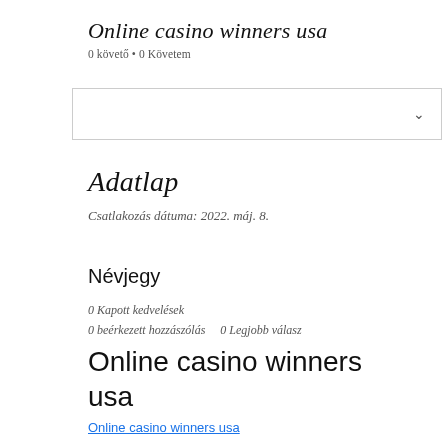Online casino winners usa
0 követő • 0 Követem
[Figure (other): Dropdown/select box with a chevron arrow on the right]
Adatlap
Csatlakozás dátuma: 2022. máj. 8.
Névjegy
0 Kapott kedvelések
0 beérkezett hozzászólás    0 Legjobb válasz
Online casino winners usa
Online casino winners usa